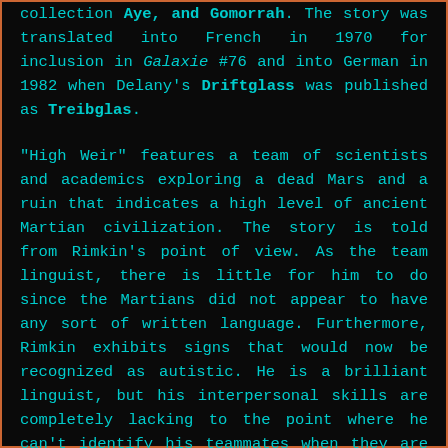collection Aye, and Gomorrah. The story was translated into French in 1970 for inclusion in Galaxie #76 and into German in 1982 when Delany's Driftglass was published as Treibglas.
"High Weir" features a team of scientists and academics exploring a dead Mars and a ruin that indicates a high level of ancient Martian civilization. The story is told from Rimkin's point of view. As the team linguist, there is little for him to do since the Martians did not appear to have any sort of written language. Furthermore, Rimkin exhibits signs that would now be recognized as autistic. He is a brilliant linguist, but his interpersonal skills are completely lacking to the point where he can't identify his teammates when they are in their space suits, nor